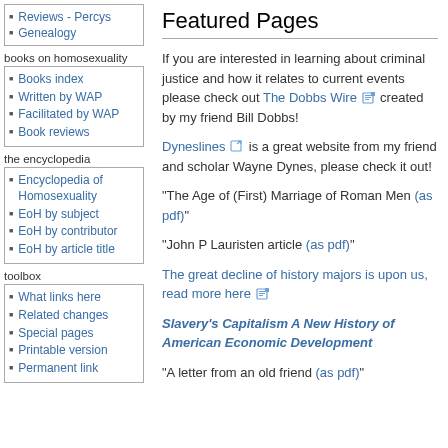Reviews - Percys
Genealogy
books on homosexuality
Books index
Written by WAP
Facilitated by WAP
Book reviews
the encyclopedia
Encyclopedia of Homosexuality
EoH by subject
EoH by contributor
EoH by article title
toolbox
What links here
Related changes
Special pages
Printable version
Permanent link
Featured Pages
If you are interested in learning about criminal justice and how it relates to current events please check out The Dobbs Wire created by my friend Bill Dobbs!
Dyneslines is a great website from my friend and scholar Wayne Dynes, please check it out!
"The Age of (First) Marriage of Roman Men (as pdf)"
"John P Lauristen article (as pdf)"
The great decline of history majors is upon us, read more here
Slavery's Capitalism A New History of American Economic Development
"A letter from an old friend (as pdf)"